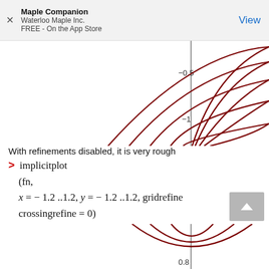Maple Companion
Waterloo Maple Inc.
FREE - On the App Store
[Figure (continuous-plot): Top portion of an implicitplot showing concentric dark red arcs/curves in the upper half of a coordinate system, with a vertical axis visible. Axis labels show -0.5 and -1 on the vertical axis.]
With refinements disabled, it is very rough
[Figure (continuous-plot): Bottom portion of an implicitplot showing the bottom of concentric dark red arcs/curves. Axis label shows 0.8 on the horizontal axis.]